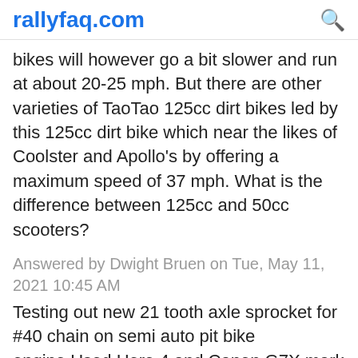rallyfaq.com
bikes will however go a bit slower and run at about 20-25 mph. But there are other varieties of TaoTao 125cc dirt bikes led by this 125cc dirt bike which near the likes of Coolster and Apollo's by offering a maximum speed of 37 mph. What is the difference between 125cc and 50cc scooters?
Answered by Dwight Bruen on Tue, May 11, 2021 10:45 AM
Testing out new 21 tooth axle sprocket for #40 chain on semi auto pit bike engine.Used Hero 4 and Canon G7X mark ii to record. Music in the video is from fre...
Answered by Tyree Osinski on Wed, May 12, 2021 1:21 AM